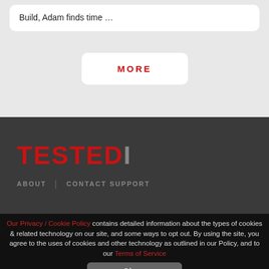Build, Adam finds time …
MORE
[Figure (logo): TESTED logo in red bold text with a grey 'i' character]
ABOUT | CONTACT SUPPORT
Our Privacy / Cookie Policy contains detailed information about the types of cookies & related technology on our site, and some ways to opt out. By using the site, you agree to the uses of cookies and other technology as outlined in our Policy, and to our Terms of Service
Close